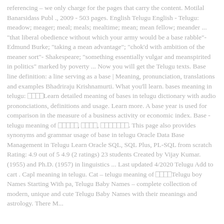referencing – we only charge for the pages that carry the content. Motilal Banarsidass Publ ., 2009 - 503 pages. English Telugu English - Telugu: meadow; meager; meal; meals; mealtime; mean; mean fellow; meander ... "that liberal obedience without which your army would be a base rabble"- Edmund Burke; "taking a mean advantage"; "chok'd with ambition of the meaner sort"- Shakespeare; "something essentially vulgar and meanspirited in politics" marked by poverty ... Now you will get the Telugu texts. Base line definition: a line serving as a base | Meaning, pronunciation, translations and examples Bhadriraju Krishnamurti. What you'll learn. bases meaning in telugu: □□□□Learn detailed meaning of bases in telugu dictionary with audio prononciations, definitions and usage. Learn more. A base year is used for comparison in the measure of a business activity or economic index. Base - telugu meaning of □□□□□, □□□□, □□□□□□□. This page also provides synonyms and grammar usage of base in telugu Oracle Data Base Management in Telugu Learn Oracle SQL, SQL Plus, PL-SQL from scratch Rating: 4.9 out of 5 4.9 (2 ratings) 23 students Created by Vijay Kumar. (1955) and Ph.D. (1957) in linguistics ... Last updated 4/2020 Telugu Add to cart . Capl meaning in telugu. Cat – telugu meaning of □□□□Telugu boy Names Starting With pa, Telugu Baby Names – complete collection of modern, unique and cute Telugu Baby Names with their meanings and astrology. There M...